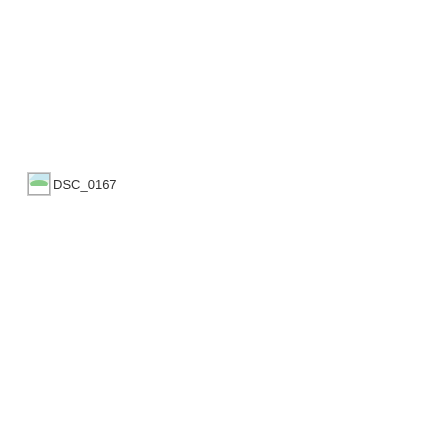[Figure (photo): A broken image placeholder icon with alt text 'DSC_0167', showing a small image icon in the upper-left corner followed by the filename text 'DSC_0167'. The image failed to load and shows a browser broken-image indicator.]